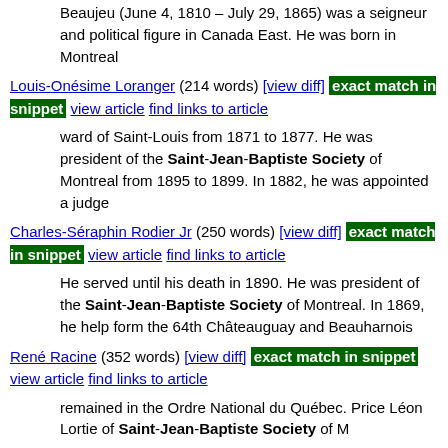Beaujeu (June 4, 1810 – July 29, 1865) was a seigneur and political figure in Canada East. He was born in Montreal
Louis-Onésime Loranger (214 words) [view diff] exact match in snippet view article find links to article
ward of Saint-Louis from 1871 to 1877. He was president of the Saint-Jean-Baptiste Society of Montreal from 1895 to 1899. In 1882, he was appointed a judge
Charles-Séraphin Rodier Jr (250 words) [view diff] exact match in snippet view article find links to article
He served until his death in 1890. He was president of the Saint-Jean-Baptiste Society of Montreal. In 1869, he help form the 64th Châteauguay and Beauharnois
René Racine (352 words) [view diff] exact match in snippet view article find links to article
remained in the Ordre National du Québec. Price Léon Lortie of Saint-Jean-Baptiste Society of Montreal in 1969. Member of the Royal Society of